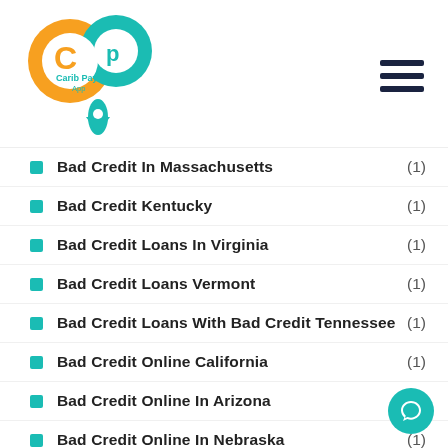Carib Pay App
Bad Credit In Massachusetts (1)
Bad Credit Kentucky (1)
Bad Credit Loans In Virginia (1)
Bad Credit Loans Vermont (1)
Bad Credit Loans With Bad Credit Tennessee (1)
Bad Credit Online California (1)
Bad Credit Online In Arizona (1)
Bad Credit Online In Nebraska (1)
Badoo Reviews (1)
Badoodating.De Sein Kommentar Ist Hier (1)
BazooCam Mobile Version (1)